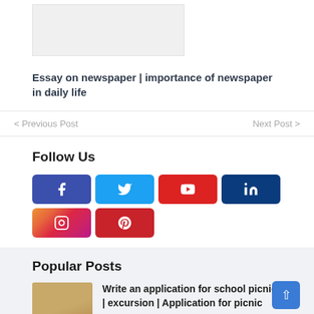[Figure (photo): Image placeholder for newspaper essay article thumbnail]
Essay on newspaper | importance of newspaper in daily life
< Previous Post
Next Post >
Follow Us
[Figure (infographic): Social media follow buttons: Facebook, Twitter, YouTube, LinkedIn, Instagram, Pinterest]
Popular Posts
[Figure (photo): Thumbnail for school picnic application article]
Write an application for school picnic | excursion | Application for picnic